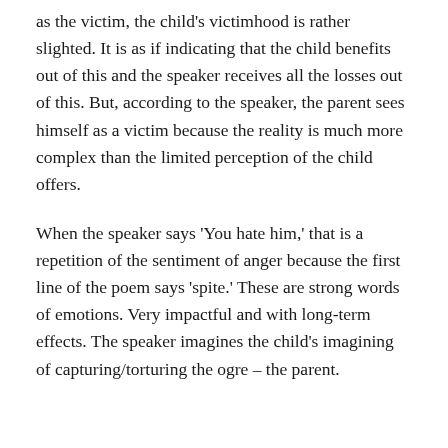as the victim, the child's victimhood is rather slighted. It is as if indicating that the child benefits out of this and the speaker receives all the losses out of this. But, according to the speaker, the parent sees himself as a victim because the reality is much more complex than the limited perception of the child offers.
When the speaker says 'You hate him,' that is a repetition of the sentiment of anger because the first line of the poem says 'spite.' These are strong words of emotions. Very impactful and with long-term effects. The speaker imagines the child's imagining of capturing/torturing the ogre – the parent.